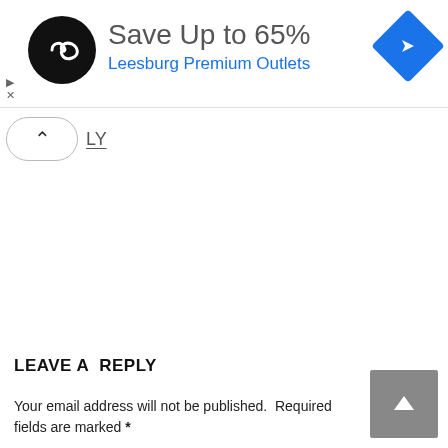[Figure (screenshot): Advertisement banner with circular black logo with infinity-like symbol, text 'Save Up to 65%' and 'Leesburg Premium Outlets' in blue, and a blue navigation diamond icon on the right. Small ad controls (triangle and X) on left side.]
LY
LEAVE A  REPLY
Your email address will not be published.  Required fields are marked *